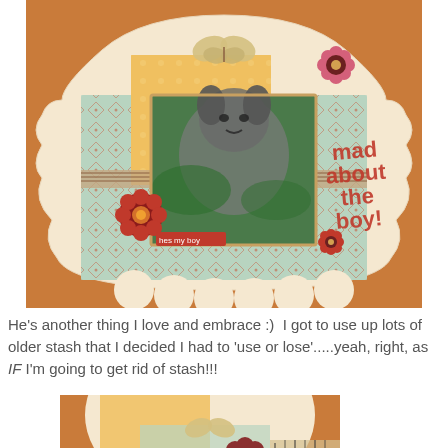[Figure (photo): Scrapbook layout featuring a dog photo on decorative patterned papers with floral embellishments and text 'mad about the boy' and 'hes my boy']
He's another thing I love and embrace :)  I got to use up lots of older stash that I decided I had to 'use or lose'.....yeah, right, as IF I'm going to get rid of stash!!!
[Figure (photo): Close-up detail of the scrapbook layout showing the top portion with floral embellishments and patterned papers]